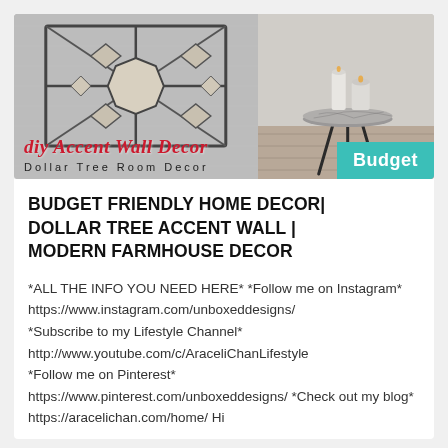[Figure (photo): YouTube video thumbnail showing DIY Accent Wall Decor with Dollar Tree Room Decor text. Left half features geometric window frame/stained glass decor on textured wall. Right half shows a marble-top side table with candles. Red script text reads 'diy Accent Wall Decor', below in spaced letters 'Dollar Tree Room Decor'. Teal badge bottom-right reads 'Budget'.]
BUDGET FRIENDLY HOME DECOR| DOLLAR TREE ACCENT WALL | MODERN FARMHOUSE DECOR
*ALL THE INFO YOU NEED HERE* *Follow me on Instagram* https://www.instagram.com/unboxeddesigns/ *Subscribe to my Lifestyle Channel* http://www.youtube.com/c/AraceliChanLifestyle *Follow me on Pinterest* https://www.pinterest.com/unboxeddesigns/ *Check out my blog* https://aracelichan.com/home/ Hi